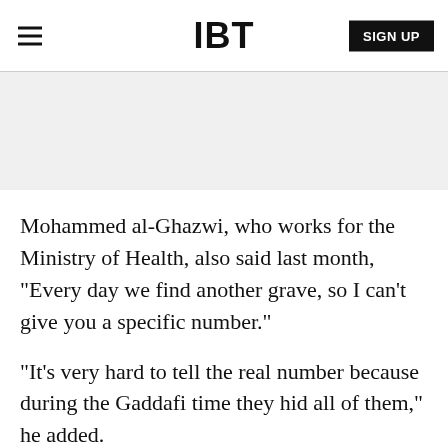IBT
[Figure (other): Gray advertisement/banner placeholder area]
Mohammed al-Ghazwi, who works for the Ministry of Health, also said last month, "Every day we find another grave, so I can't give you a specific number."
"It's very hard to tell the real number because during the Gaddafi time they hid all of them," he added.